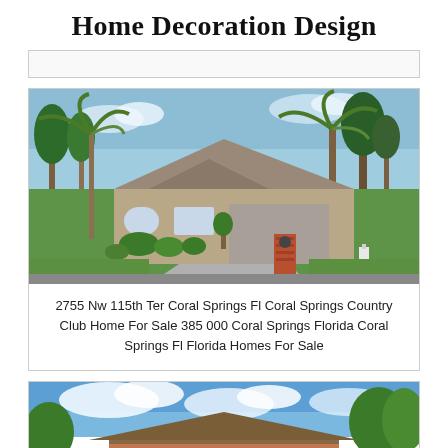Home Decoration Design
[Figure (photo): Exterior photo of a single-story Florida home with tile roof, two-car garage, palm trees, landscaping, and a brick entrance column at 2755 Nw 115th Ter Coral Springs]
2755 Nw 115th Ter Coral Springs Fl Coral Springs Country Club Home For Sale 385 000 Coral Springs Florida Coral Springs Fl Florida Homes For Sale
[Figure (photo): Partial exterior photo of a brick home with blue sky and trees in background]